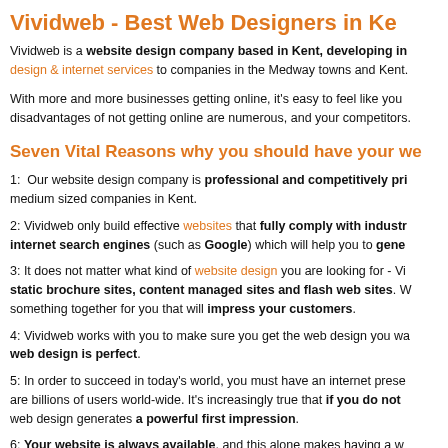Vividweb - Best Web Designers in Ke
Vividweb is a website design company based in Kent, developing in design & internet services to companies in the Medway towns and Kent.
With more and more businesses getting online, it's easy to feel like you disadvantages of not getting online are numerous, and your competitors.
Seven Vital Reasons why you should have your we
1: Our website design company is professional and competitively pri medium sized companies in Kent.
2: Vividweb only build effective websites that fully comply with industr internet search engines (such as Google) which will help you to gene
3: It does not matter what kind of website design you are looking for - Vi static brochure sites, content managed sites and flash web sites. W something together for you that will impress your customers.
4: Vividweb works with you to make sure you get the web design you wa web design is perfect.
5: In order to succeed in today's world, you must have an internet prese are billions of users world-wide. It's increasingly true that if you do not web design generates a powerful first impression.
6: Your website is always available, and this alone makes having a w